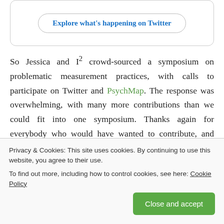[Figure (screenshot): Twitter call-to-action button reading 'Explore what's happening on Twitter' with rounded border]
So Jessica and I² crowd-sourced a symposium on problematic measurement practices, with calls to participate on Twitter and PsychMap. The response was overwhelming, with many more contributions than we could fit into one symposium. Thanks again for everybody who would have wanted to contribute, and sorry that APS only has 4 spots for a symposium. After we decided to team up with Mijke Rhetulla and
Privacy & Cookies: This site uses cookies. By continuing to use this website, you agree to their use.
To find out more, including how to control cookies, see here: Cookie Policy
Close and accept